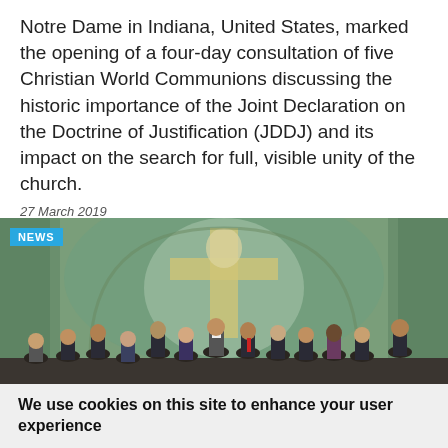Notre Dame in Indiana, United States, marked the opening of a four-day consultation of five Christian World Communions discussing the historic importance of the Joint Declaration on the Doctrine of Justification (JDDJ) and its impact on the search for full, visible unity of the church.
27 March 2019
[Figure (photo): Group photo of approximately 13 people standing in front of a large religious mural depicting a crucifixion scene in blues and greens. A blue 'NEWS' badge overlays the top-left corner of the image.]
We use cookies on this site to enhance your user experience